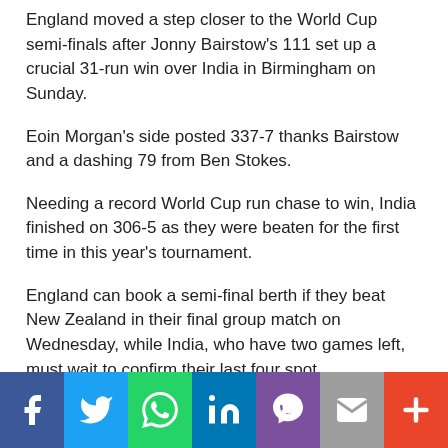England moved a step closer to the World Cup semi-finals after Jonny Bairstow's 111 set up a crucial 31-run win over India in Birmingham on Sunday.
Eoin Morgan's side posted 337-7 thanks Bairstow and a dashing 79 from Ben Stokes.
Needing a record World Cup run chase to win, India finished on 306-5 as they were beaten for the first time in this year's tournament.
England can book a semi-final berth if they beat New Zealand in their final group match on Wednesday, while India, who have two games left, must wait to confirm their last four spot.
[Figure (infographic): Social sharing bar with icons for Facebook, Twitter, WhatsApp, LinkedIn, Viber, Email, and More (+)]